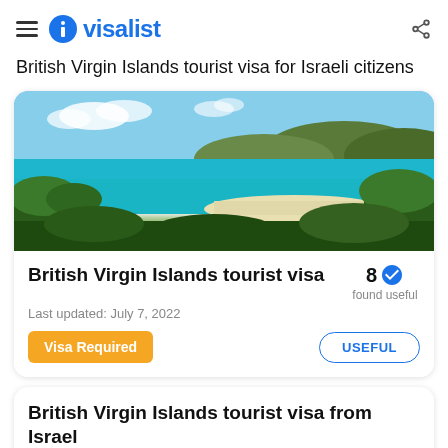visalist
British Virgin Islands tourist visa for Israeli citizens
[Figure (photo): Aerial view of British Virgin Islands beach with turquoise water, sandy shore, green hills, and blue sky]
British Virgin Islands tourist visa
Last updated: July 7, 2022
8 found useful
Visa Required
USEFUL
British Virgin Islands tourist visa from Israel